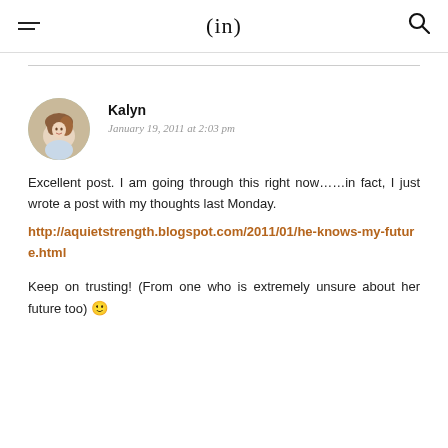(in)
[Figure (photo): Profile photo of Kalyn — a woman with reddish-brown hair, smiling, shown in a circular avatar crop.]
Kalyn
January 19, 2011 at 2:03 pm
Excellent post. I am going through this right now……in fact, I just wrote a post with my thoughts last Monday.
http://aquietstrength.blogspot.com/2011/01/he-knows-my-future.html
Keep on trusting! (From one who is extremely unsure about her future too) 🙂